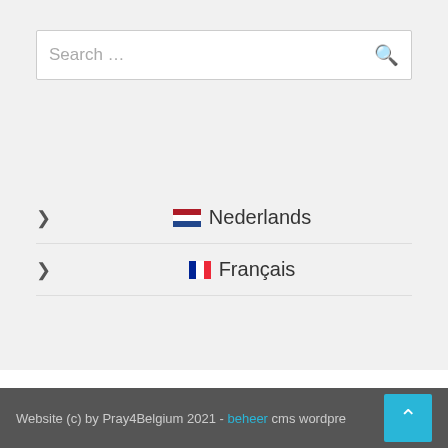Search …
Nederlands
Français
Website (c) by Pray4Belgium 2021 - beheer cms wordpre…